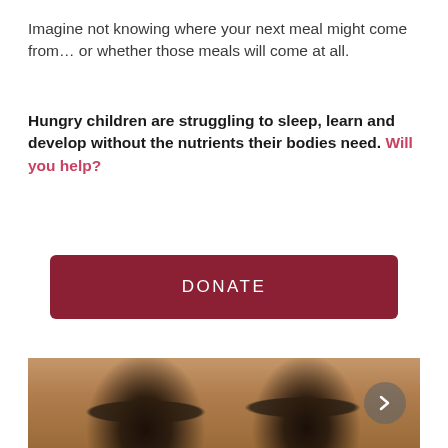Imagine not knowing where your next meal might come from… or whether those meals will come at all.
Hungry children are struggling to sleep, learn and develop without the nutrients their bodies need. Will you help?
[Figure (other): A dark red rectangular donate button with white uppercase text 'DONATE' and letter-spacing]
[Figure (photo): Photograph of two young African children with shaved heads, looking at the camera, with a sandy/dried mud wall background]